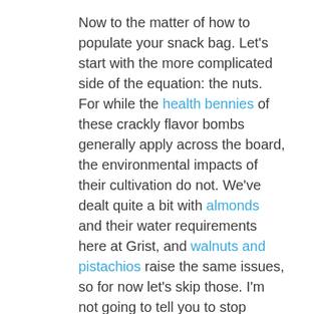Now to the matter of how to populate your snack bag. Let's start with the more complicated side of the equation: the nuts. For while the health bennies of these crackly flavor bombs generally apply across the board, the environmental impacts of their cultivation do not. We've dealt quite a bit with almonds and their water requirements here at Grist, and walnuts and pistachios raise the same issues, so for now let's skip those. I'm not going to tell you to stop eating them altogether – it's complicated, like most food issues – but it's good to consider their water footprints all the same.
Peanuts aren't so easy to skip – without them, GORP becomes the much less appetizing GOR – nor should we. Locally grown options abound, for one, with most sprouting up in Georgia and other southern states (in the delightfully named Peanut Belt). They make their own fertiliz...